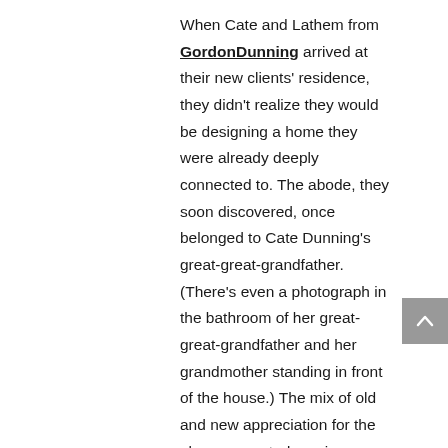When Cate and Lathem from GordonDunning arrived at their new clients' residence, they didn't realize they would be designing a home they were already deeply connected to. The abode, they soon discovered, once belonged to Cate Dunning's great-great-grandfather. (There's even a photograph in the bathroom of her great-great-grandfather and her grandmother standing in front of the house.) The mix of old and new appreciation for the place presented a unique opportunity to furnish and renovate a home they all cherished.